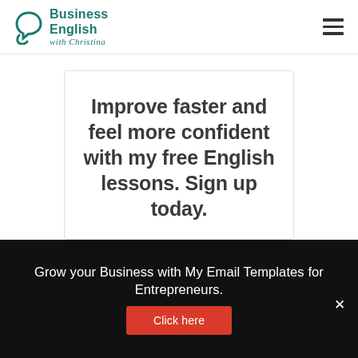[Figure (logo): Business English with Christina logo — teal circular chat icon with bold teal text 'Business English' and italic script 'with Christina']
Improve faster and feel more confident with my free English lessons. Sign up today.
Grow your Business with My Email Templates for Entrepreneurs.
Click here